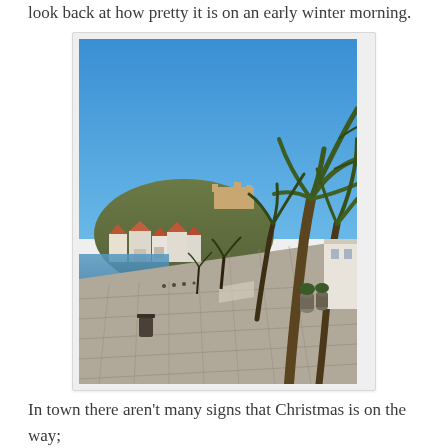look back at how pretty it is on an early winter morning.
[Figure (photo): A waterfront promenade in a Mediterranean town (Hvar, Croatia) on a clear winter morning. Large palm trees line the right side of the wide stone-paved walkway. In the background, white and terracotta-roofed buildings climb a hillside topped by a fortress. The sky is a clear, deep blue. The harbor water is visible to the left. The scene is empty of people.]
In town there aren't many signs that Christmas is on the way;